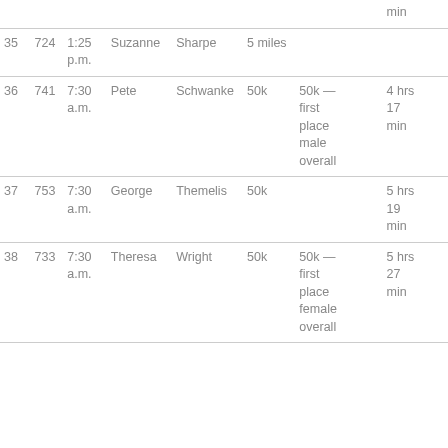|  |  |  |  |  |  |  | min |
| 35 | 724 | 1:25 p.m. | Suzanne | Sharpe | 5 miles |  |  |
| 36 | 741 | 7:30 a.m. | Pete | Schwanke | 50k | 50k — first place male overall | 4 hrs 17 min |
| 37 | 753 | 7:30 a.m. | George | Themelis | 50k |  | 5 hrs 19 min |
| 38 | 733 | 7:30 a.m. | Theresa | Wright | 50k | 50k — first place female overall | 5 hrs 27 min |